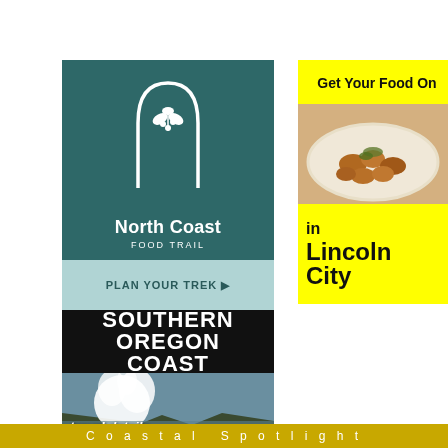[Figure (illustration): North Coast Food Trail advertisement with teal background showing barrels, white arch logo with plant/herb icon, bold white text 'North Coast FOOD TRAIL', and light teal banner reading 'PLAN YOUR TREK ▶']
[Figure (illustration): Southern Oregon Coast advertisement with black banner showing bold white text 'SOUTHERN OREGON COAST' and photo of ocean waves crashing on rocky coast, white italic text 'travel details']
[Figure (illustration): Lincoln City food advertisement with yellow background. Bold black text 'Get Your Food On' at top. Center photo of roasted potatoes/food on a plate. Bottom yellow area with black text 'in' and large bold 'Lincoln City']
Coastal Spotlight